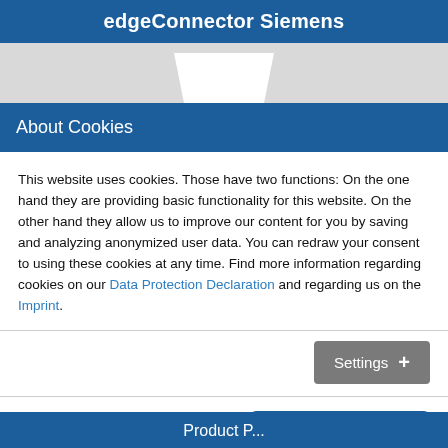edgeConnector Siemens
[Figure (screenshot): Gray tab area with white trapezoid tab shape]
About Cookies
This website uses cookies. Those have two functions: On the one hand they are providing basic functionality for this website. On the other hand they allow us to improve our content for you by saving and analyzing anonymized user data. You can redraw your consent to using these cookies at any time. Find more information regarding cookies on our Data Protection Declaration and regarding us on the Imprint.
[Figure (screenshot): Settings button with plus icon]
[Figure (screenshot): Save and Accept all cookies buttons]
Product P...